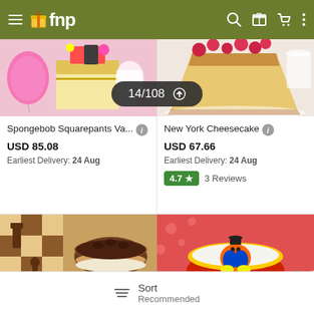fnp — navigation bar
[Figure (screenshot): Spongebob Squarepants cake product image — colorful cake with balloon on left side]
[Figure (screenshot): New York Cheesecake product image — cheesecake slice with raspberries]
14/108 ↑
Spongebob Squarepants Va... USD 85.08 Earliest Delivery: 24 Aug
New York Cheesecake USD 67.66 Earliest Delivery: 24 Aug 4.7 ★ 3 Reviews
[Figure (photo): Chocolate layered cake on white stand with chess board background]
[Figure (photo): Mickey Mouse themed cake with yellow and red decoration]
Sort Recommended